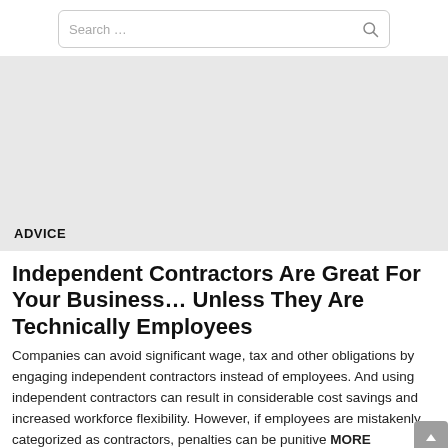Search …
[Figure (other): Large light grey placeholder image area with an ADVICE label at the bottom left]
ADVICE
Independent Contractors Are Great For Your Business… Unless They Are Technically Employees
Companies can avoid significant wage, tax and other obligations by engaging independent contractors instead of employees. And using independent contractors can result in considerable cost savings and increased workforce flexibility. However, if employees are mistakenly categorized as contractors, penalties can be punitive MORE